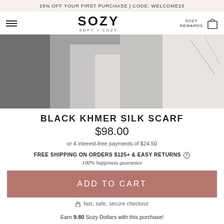15% OFF YOUR FIRST PURCHASE | CODE: WELCOME15
[Figure (logo): SOZY brand logo with SOFT + COZY tagline]
[Figure (photo): Product photo of person wearing black Khmer silk scarf draped over white and dark grey fabric]
BLACK KHMER SILK SCARF
$98.00
or 4 interest-free payments of $24.50
FREE SHIPPING ON ORDERS $125+ & EASY RETURNS
100% happiness guarantee
ADD TO CART
fast, safe, secure checkout
Earn 9.80 Sozy Dollars with this purchase!